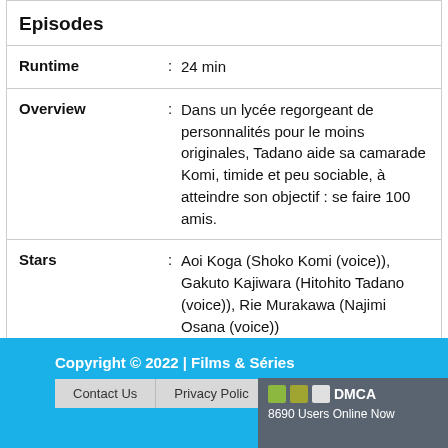Episodes
| Runtime | : | 24 min |
| Overview | : | Dans un lycée regorgeant de personnalités pour le moins originales, Tadano aide sa camarade Komi, timide et peu sociable, à atteindre son objectif : se faire 100 amis. |
| Stars | : | Aoi Koga (Shoko Komi (voice)), Gakuto Kajiwara (Hitohito Tadano (voice)), Rie Murakawa (Najimi Osana (voice)) |
Copyright © 2022 | Films & Séries | Contact Us | Privacy Policy | DMCA | 8690 Users Online Now